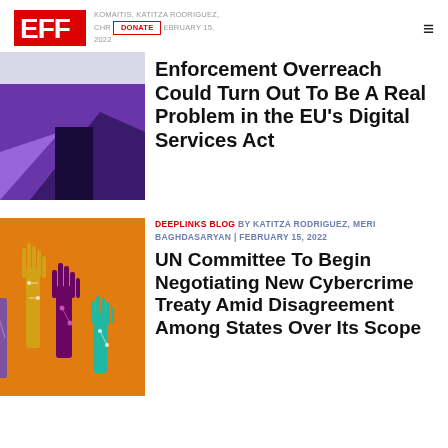EFF | KOMAITIS, KATITZA RODRIGUEZ, CHRISTOPH... | FEBRUARY 15, 2022 | DONATE | ≡
[Figure (illustration): Abstract purple and dark geometric illustration, article thumbnail for Digital Services Act article]
Enforcement Overreach Could Turn Out To Be A Real Problem in the EU's Digital Services Act
[Figure (illustration): Colorful illustration of raised hands with circuit board patterns on orange background, article thumbnail for UN Cybercrime Treaty article]
DEEPLINKS BLOG BY KATITZA RODRIGUEZ, MERI BAGHDASARYAN | FEBRUARY 15, 2022
UN Committee To Begin Negotiating New Cybercrime Treaty Amid Disagreement Among States Over Its Scope